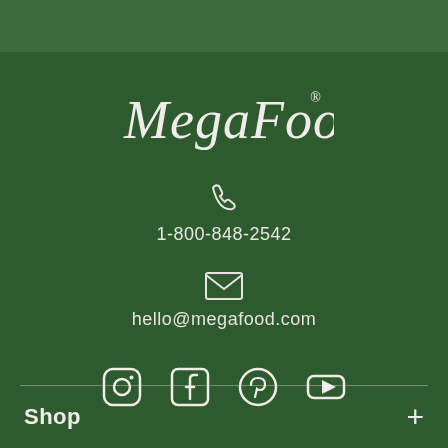[Figure (logo): MegaFood script logo in white/cream on dark green background]
1-800-848-2542
hello@megafood.com
[Figure (illustration): Social media icons: Instagram, Facebook, Pinterest, YouTube]
Shop
+